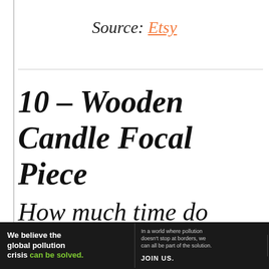Source: Etsy
10 – Wooden Candle Focal Piece
How much time do you have on your
[Figure (other): Advertisement overlay with grey background showing 'No more sources for your media.' text]
[Figure (other): Pure Earth advertisement banner at bottom of page with text 'We believe the global pollution crisis can be solved.' and Pure Earth logo]